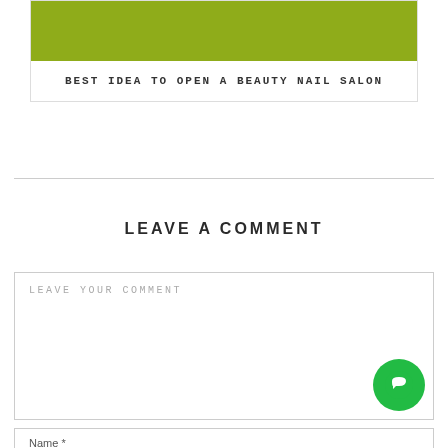[Figure (other): Card with olive/green top section and white bottom]
BEST IDEA TO OPEN A BEAUTY NAIL SALON
LEAVE A COMMENT
LEAVE YOUR COMMENT
Name *